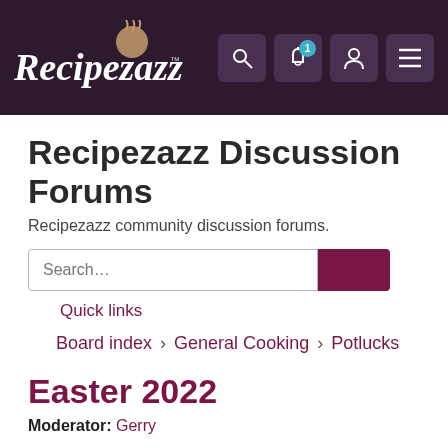Recipezazz
Recipezazz Discussion Forums
Recipezazz community discussion forums.
Quick links
Board index  General Cooking  Potlucks
Easter 2022
Moderator: Gerry
Post Reply
Search this topic